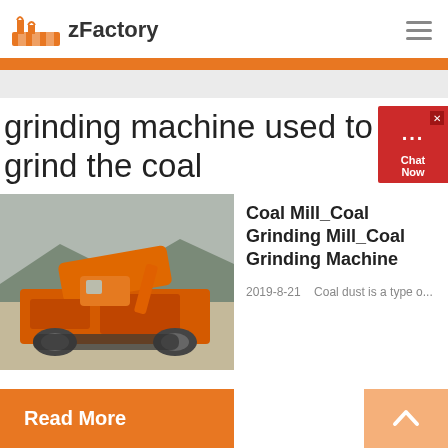zFactory
grinding machine used to grind the coal
[Figure (photo): Orange heavy-duty coal grinding machine / crusher outdoors with mountains in background]
Coal Mill_Coal Grinding Mill_Coal Grinding Machine
2019-8-21    Coal dust is a type o...
Read More